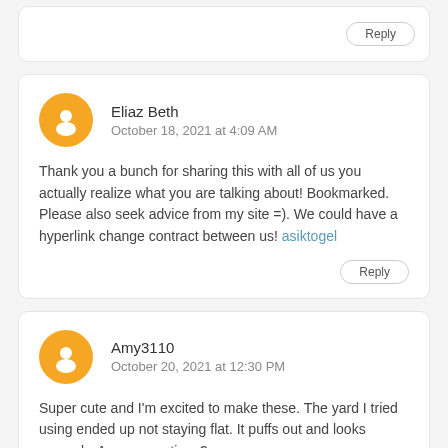Reply
Eliaz Beth
October 18, 2021 at 4:09 AM
Thank you a bunch for sharing this with all of us you actually realize what you are talking about! Bookmarked. Please also seek advice from my site =). We could have a hyperlink change contract between us! asiktogel
Reply
Amy3110
October 20, 2021 at 12:30 PM
Super cute and I'm excited to make these. The yard I tried using ended up not staying flat. It puffs out and looks scraggly. Any suggestions?
Reply